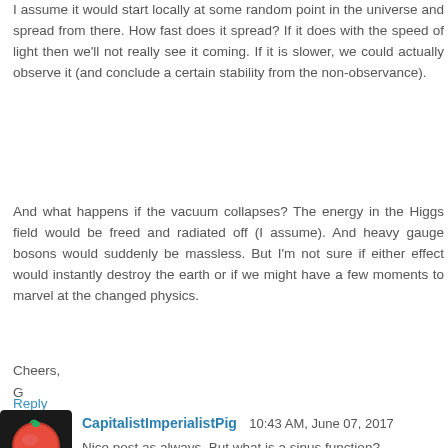I assume it would start locally at some random point in the universe and spread from there. How fast does it spread? If it does with the speed of light then we'll not really see it coming. If it is slower, we could actually observe it (and conclude a certain stability from the non-observance).
And what happens if the vacuum collapses? The energy in the Higgs field would be freed and radiated off (I assume). And heavy gauge bosons would suddenly be massless. But I'm not sure if either effect would instantly destroy the earth or if we might have a few moments to marvel at the changed physics.
Cheers,
G
Reply
[Figure (photo): Avatar image of CapitalistImperialistPig showing a red circular fruit/tomato on dark background]
CapitalistImperialistPig  10:43 AM, June 07, 2017
Nice post as always. But what is a sinus function?
Reply